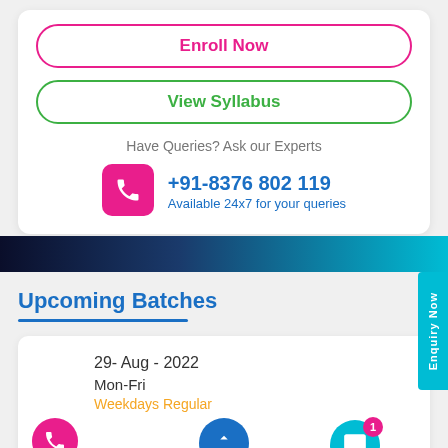Enroll Now
View Syllabus
Have Queries? Ask our Experts
+91-8376 802 119
Available 24x7 for your queries
Upcoming Batches
29- Aug - 2022
Mon-Fri
Weekdays Regular